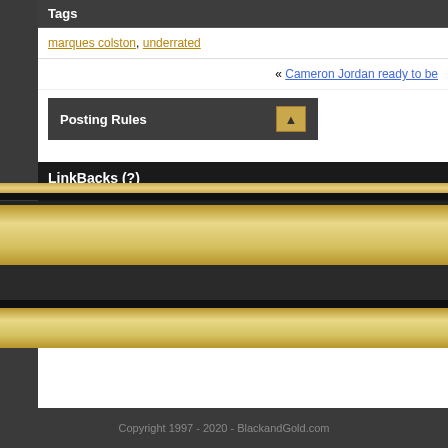Tags
marques colston, underrated
« Cameron Jordan ready to be
Posting Rules
LinkBacks (?)
LinkBack to this Thread: https://blackandgold.com/saints/57901-why-marques-colston-nfls-most
Posted By
Why Marques Colston Is the NFL's Most Underrated Receiver
The Latest New Orleans Saints News | SportSpyder
All ti
Copyright 1997 - 2020 - BlackandGold.com